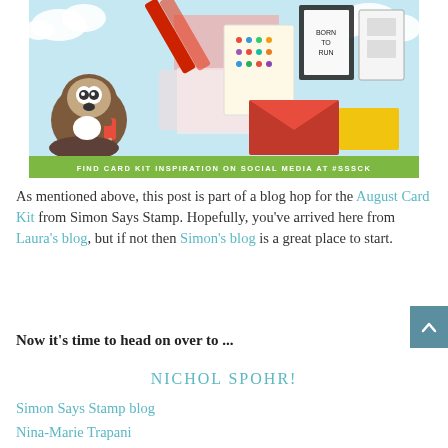[Figure (illustration): August Card Kit promotional banner from Simon Says Stamp. Shows a colorful crafting scene with a Boston terrier dog holding a popsicle, a house-shaped arrangement of patterned papers and stamp sets, and red envelopes. Green banner at bottom reads 'FIND CARD KIT INSPIRATION ON SOCIAL MEDIA AT #SSSCK'.]
As mentioned above, this post is part of a blog hop for the August Card Kit from Simon Says Stamp. Hopefully, you've arrived here from Laura's blog, but if not then Simon's blog is a great place to start.
Now it's time to head on over to ...
NICHOL SPOHR!
Simon Says Stamp blog
Nina-Marie Trapani
Laura Bassen
Debby Hughes